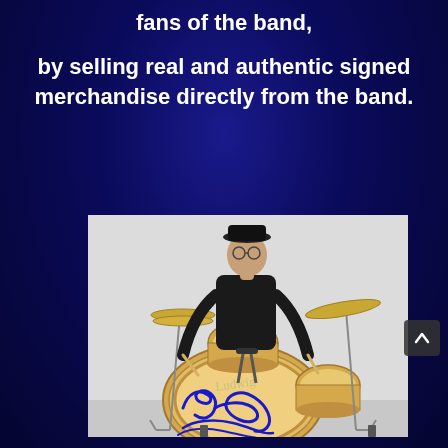fans of the band,
by selling real and authentic signed merchandise directly from the band.
[Figure (photo): A man wearing a black jacket and hat sitting behind a drum kit with a large kick drum in the foreground showing a blue autograph signature. The photo has a white/light grey background.]